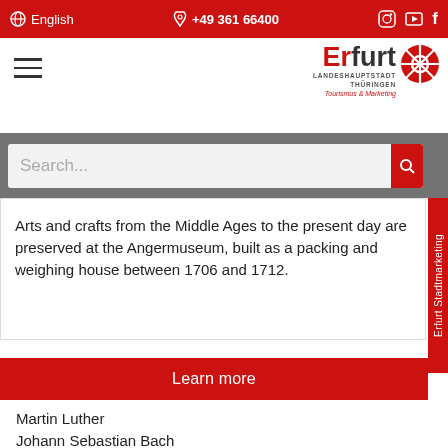English  +49 361 66400
[Figure (logo): Erfurt Landeshauptstadt Thüringen Tourismus & Marketing logo with red wheel symbol]
[Figure (other): Hamburger menu icon (three horizontal lines)]
Search...
Arts and crafts from the Middle Ages to the present day are preserved at the Angermuseum, built as a packing and weighing house between 1706 and 1712.
Learn more
Martin Luther
Johann Sebastian Bach
Johann Wolfgang von Goethe
Napoleon Bonaparte